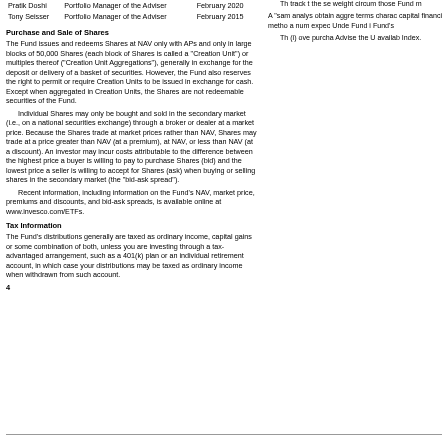| Name | Title | Since |
| --- | --- | --- |
| Pratik Doshi | Portfolio Manager of the Adviser | February 2020 |
| Tony Seisser | Portfolio Manager of the Adviser | February 2015 |
Purchase and Sale of Shares
The Fund issues and redeems Shares at NAV only with APs and only in large blocks of 50,000 Shares (each block of Shares is called a "Creation Unit") or multiples thereof ("Creation Unit Aggregations"), generally in exchange for the deposit or delivery of a basket of securities. However, the Fund also reserves the right to permit or require Creation Units to be issued in exchange for cash. Except when aggregated in Creation Units, the Shares are not redeemable securities of the Fund.
Individual Shares may only be bought and sold in the secondary market (i.e., on a national securities exchange) through a broker or dealer at a market price. Because the Shares trade at market prices rather than NAV, Shares may trade at a price greater than NAV (at a premium), at NAV, or less than NAV (at a discount). An investor may incur costs attributable to the difference between the highest price a buyer is willing to pay to purchase Shares (bid) and the lowest price a seller is willing to accept for Shares (ask) when buying or selling shares in the secondary market (the "bid-ask spread").
Recent information, including information on the Fund's NAV, market price, premiums and discounts, and bid-ask spreads, is available online at www.invesco.com/ETFs.
Tax Information
The Fund's distributions generally are taxed as ordinary income, capital gains or some combination of both, unless you are investing through a tax-advantaged arrangement, such as a 401(k) plan or an individual retirement account, in which case your distributions may be taxed as ordinary income when withdrawn from such account.
4
Th track t the se weight circum those Fund m
A "sam analys obtain aggre terms charac capital financi metho a num expec Unde Fund i Fund's
Th (i) ove purcha Advise the U availab Index.